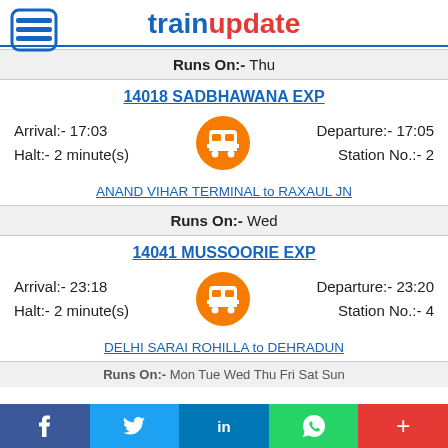trainupdate
Runs On:- Thu
14018 SADBHAWANA EXP
Arrival:- 17:03   Halt:- 2 minute(s)   Departure:- 17:05   Station No.:- 2
ANAND VIHAR TERMINAL to RAXAUL JN
Runs On:- Wed
14041 MUSSOORIE EXP
Arrival:- 23:18   Halt:- 2 minute(s)   Departure:- 23:20   Station No.:- 4
DELHI SARAI ROHILLA to DEHRADUN
Runs On:- Mon Tue Wed Thu Fri Sat Sun
f  Twitter  in  WhatsApp  +